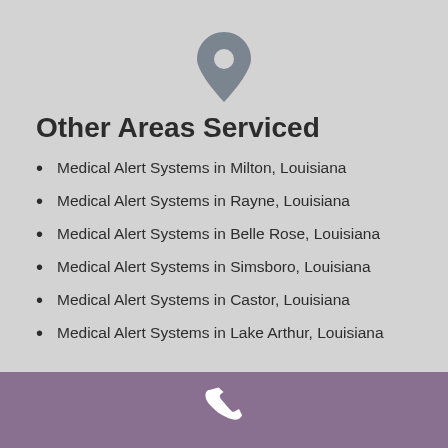[Figure (illustration): Gray map pin / location marker icon centered at top of page]
Other Areas Serviced
Medical Alert Systems in Milton, Louisiana
Medical Alert Systems in Rayne, Louisiana
Medical Alert Systems in Belle Rose, Louisiana
Medical Alert Systems in Simsboro, Louisiana
Medical Alert Systems in Castor, Louisiana
Medical Alert Systems in Lake Arthur, Louisiana
[Figure (illustration): White telephone handset icon centered in purple/mauve footer bar]